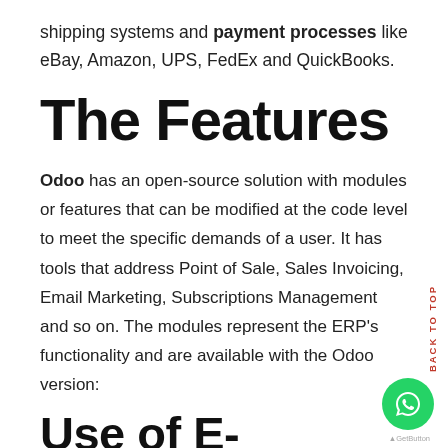shipping systems and payment processes like eBay, Amazon, UPS, FedEx and QuickBooks.
The Features
Odoo has an open-source solution with modules or features that can be modified at the code level to meet the specific demands of a user. It has tools that address Point of Sale, Sales Invoicing, Email Marketing, Subscriptions Management and so on. The modules represent the ERP's functionality and are available with the Odoo version:
Use of E-commerce